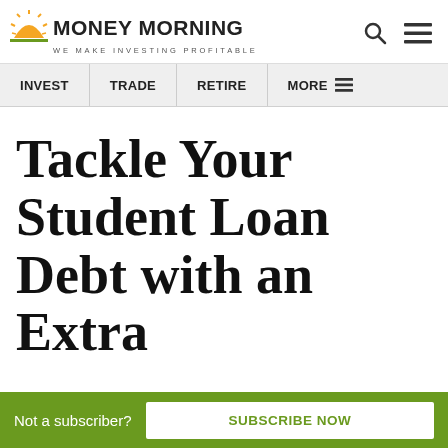MONEY MORNING — WE MAKE INVESTING PROFITABLE
INVEST | TRADE | RETIRE | MORE
Tackle Your Student Loan Debt with an Extra
Not a subscriber? SUBSCRIBE NOW